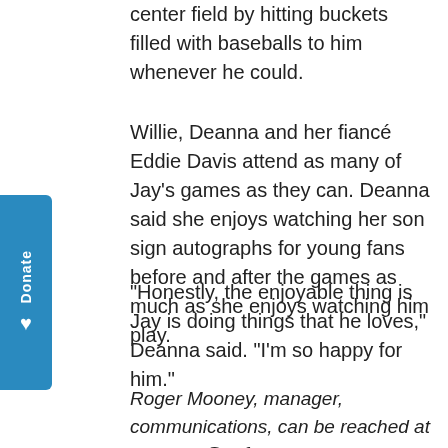center field by hitting buckets filled with baseballs to him whenever he could.
Willie, Deanna and her fiancé Eddie Davis attend as many of Jay's games as they can. Deanna said she enjoys watching her son sign autographs for young fans before and after the games as much as she enjoys watching him play.
“Honestly, the enjoyable thing is Jay is doing things that he loves,” Deanna said. “I’m so happy for him.”
Roger Mooney, manager, communications, can be reached at rmooney@sufs.org.